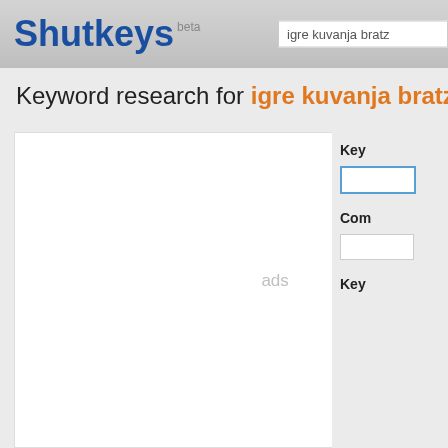Shutkeys beta
Keyword research for igre kuvanja bratz
ads
ads
Key
Com
Key